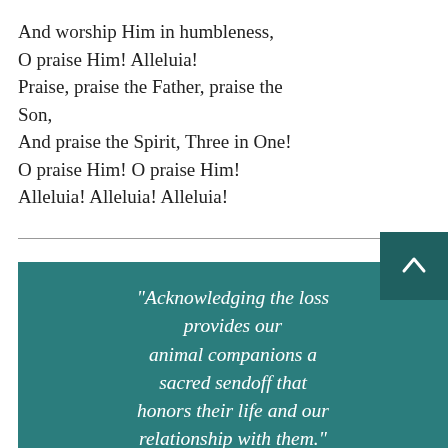And worship Him in humbleness,
O praise Him! Alleluia!
Praise, praise the Father, praise the Son,
And praise the Spirit, Three in One!
O praise Him! O praise Him!
Alleluia! Alleluia! Alleluia!
[Figure (other): Teal/dark green quote box with white italic text: '"Acknowledging the loss provides our animal companions a sacred sendoff that honors their life and our relationship with them."' with a white divider line and attribution 'SARAH BOWEN' below. A scroll-to-top button appears in the lower right corner of the box.]